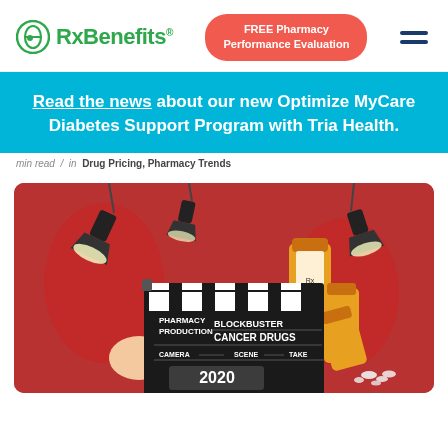RxBenefits | FREE Pharmacy Performance Evaluation
Read the news about our new Optimize MyCare Diabetes Support Program with Tria Health.
min read / in Drug Pricing, Pharmacy Trends
[Figure (photo): A movie clapperboard reading 'PHARMACY PRODUCTION BLOCKBUSTER CANCER DRUGS CAMERA SCENE TAKE 2020' held by hands against a red background with stage lights and prescription medicine bottles.]